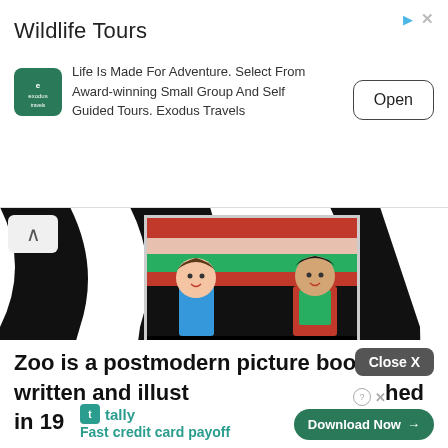[Figure (screenshot): Advertisement banner for Wildlife Tours by Exodus Travels with logo, text description, and Open button]
[Figure (screenshot): Screenshot of a webpage showing the book 'Zoo' by Anthony Browne with zebra stripe background, book cover image, and article text partially obscured by ads]
Zoo is a postmodern picture book written and illust hed in 19